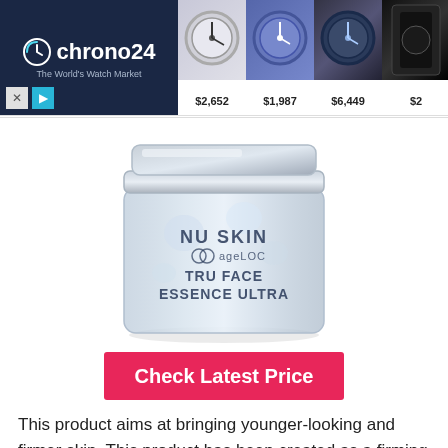[Figure (screenshot): Chrono24 advertisement banner showing The World's Watch Market logo on dark blue background with watch product images priced at $2,652, $1,987, $6,449, and a partial price]
[Figure (photo): Nu Skin ageLOC Tru Face Essence Ultra product jar — frosted glass/plastic cylindrical container with silver lid, dark blue text reading NU SKIN, ageLOC, TRU FACE ESSENCE ULTRA]
Check Latest Price
This product aims at bringing younger-looking and firmer skin. This product has been created as a firming powerhouse that features scientifically validated and